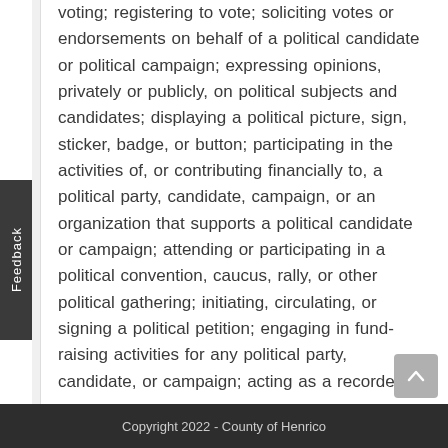voting; registering to vote; soliciting votes or endorsements on behalf of a political candidate or political campaign; expressing opinions, privately or publicly, on political subjects and candidates; displaying a political picture, sign, sticker, badge, or button; participating in the activities of, or contributing financially to, a political party, candidate, campaign, or an organization that supports a political candidate or campaign; attending or participating in a political convention, caucus, rally, or other political gathering; initiating, circulating, or signing a political petition; engaging in fund-raising activities for any political party, candidate, or campaign; acting as a recorder, watcher, challenger, of similar officer at the polls on behalf of a political party or candidate
Copyright 2022 - County of Henrico